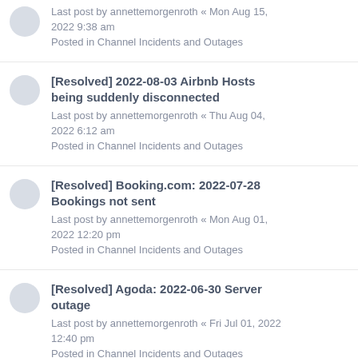Last post by annettemorgenroth « Mon Aug 15, 2022 9:38 am
Posted in Channel Incidents and Outages
[Resolved] 2022-08-03 Airbnb Hosts being suddenly disconnected
Last post by annettemorgenroth « Thu Aug 04, 2022 6:12 am
Posted in Channel Incidents and Outages
[Resolved] Booking.com: 2022-07-28 Bookings not sent
Last post by annettemorgenroth « Mon Aug 01, 2022 12:20 pm
Posted in Channel Incidents and Outages
[Resolved] Agoda: 2022-06-30 Server outage
Last post by annettemorgenroth « Fri Jul 01, 2022 12:40 pm
Posted in Channel Incidents and Outages
[Resolved] Expedia: 2022-06-11 Bookings not sent